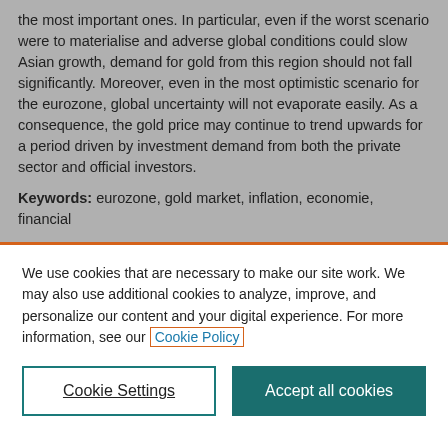the most important ones. In particular, even if the worst scenario were to materialise and adverse global conditions could slow Asian growth, demand for gold from this region should not fall significantly. Moreover, even in the most optimistic scenario for the eurozone, global uncertainty will not evaporate easily. As a consequence, the gold price may continue to trend upwards for a period driven by investment demand from both the private sector and official investors.
Keywords: eurozone, gold market, inflation, economie, financial ...
We use cookies that are necessary to make our site work. We may also use additional cookies to analyze, improve, and personalize our content and your digital experience. For more information, see our Cookie Policy